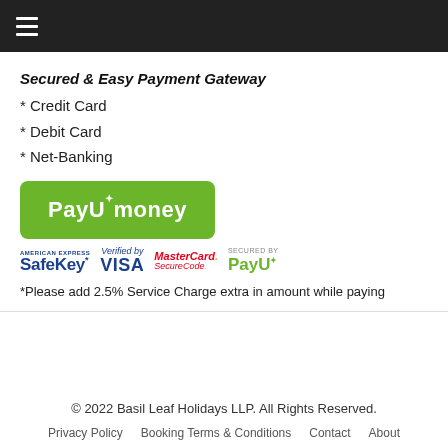≡
Secured & Easy Payment Gateway
* Credit Card
* Debit Card
* Net-Banking
[Figure (logo): PayUmoney green button logo]
[Figure (logo): American Express SafeKey, Verified by VISA, MasterCard SecureCode, Secured by PayU logos]
*Please add 2.5% Service Charge extra in amount while paying
© 2022 Basil Leaf Holidays LLP. All Rights Reserved.
Privacy Policy    Booking Terms & Conditions    Contact    About